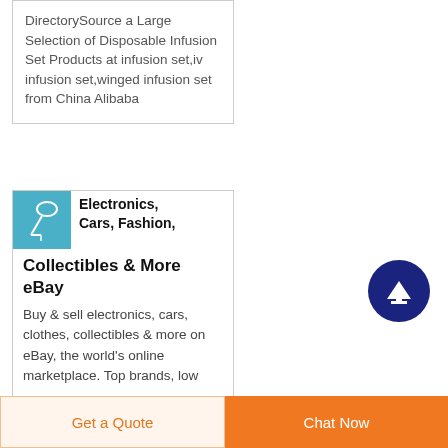DirectorySource a Large Selection of Disposable Infusion Set Products at infusion set,iv infusion set,winged infusion set from China Alibaba
Electronics, Cars, Fashion, Collectibles & More eBay
Buy & sell electronics, cars, clothes, collectibles & more on eBay, the world's online marketplace. Top brands, low
Get a Quote
Chat Now